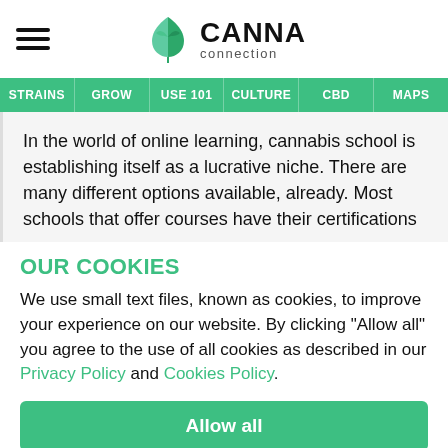[Figure (logo): Canna Connection logo with green cannabis leaf and company name]
STRAINS | GROW | USE 101 | CULTURE | CBD | MAPS
In the world of online learning, cannabis school is establishing itself as a lucrative niche. There are many different options available, already. Most schools that offer courses have their certifications
OUR COOKIES
We use small text files, known as cookies, to improve your experience on our website. By clicking "Allow all" you agree to the use of all cookies as described in our Privacy Policy and Cookies Policy.
Allow all
Reject all | Manage cookies